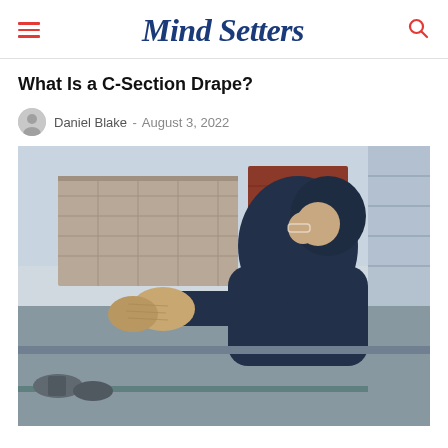Mind Setters
What Is a C-Section Drape?
Daniel Blake - August 3, 2022
[Figure (photo): A person wearing a dark navy hoodie and work gloves leaning over a ledge or railing on a rooftop, with brick buildings visible in the background.]